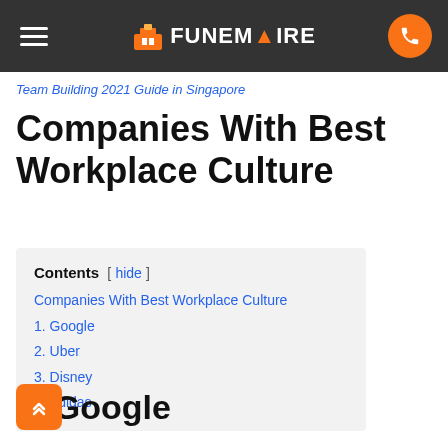FunEmpire navigation bar
Team Building 2021 Guide in Singapore
Companies With Best Workplace Culture
| Contents |
| --- |
| Companies With Best Workplace Culture |
| 1. Google |
| 2. Uber |
| 3. Disney |
| 4. Adidas |
1. Google